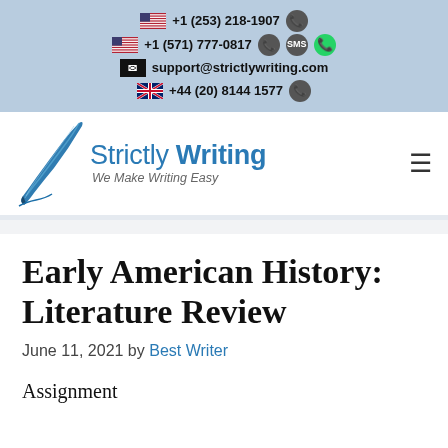+1 (253) 218-1907  |  +1 (571) 777-0817  |  support@strictlywriting.com  |  +44 (20) 8144 1577
[Figure (logo): Strictly Writing logo with quill pen icon and tagline 'We Make Writing Easy']
Early American History: Literature Review
June 11, 2021 by Best Writer
Assignment